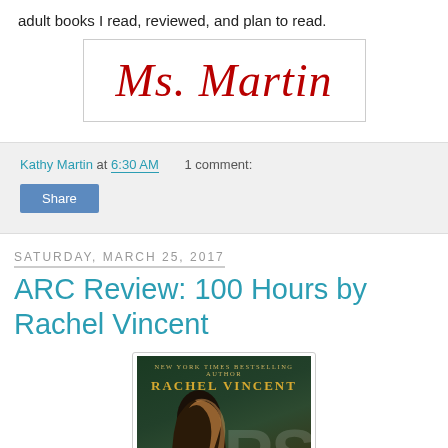adult books I read, reviewed, and plan to read.
[Figure (photo): Handwritten signature reading 'Ms. Martin' in dark red cursive script on white background with border]
Kathy Martin at 6:30 AM   1 comment:
Share
Saturday, March 25, 2017
ARC Review: 100 Hours by Rachel Vincent
[Figure (photo): Book cover for '100 Hours' by Rachel Vincent (New York Times Bestselling Author), showing a girl with long dark hair from behind, with bokeh green background and large stylized letters 'URS' visible]